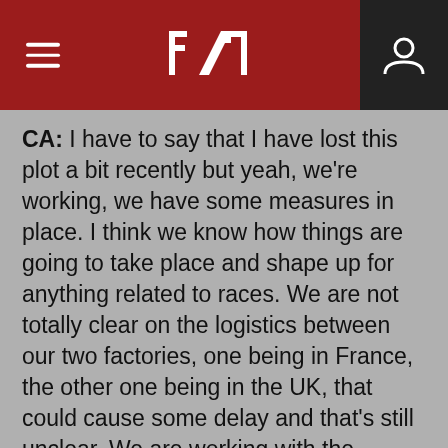F1 navigation header
CA: I have to say that I have lost this plot a bit recently but yeah, we're working, we have some measures in place. I think we know how things are going to take place and shape up for anything related to races. We are not totally clear on the logistics between our two factories, one being in France, the other one being in the UK, that could cause some delay and that's still unclear. We are working with the Renault-Nissan Group on the logistics side to make sure that we understand exactly... we have access to the authorities and then they will be able to help us in that respect so we are lucky to be part of a group in that respect. On the personnel side – because we've recruited a lot, 24 nationalities working in our factory in the UK, obviously we don't want to lose these people, so we understand that there will be some sort of grandfathering, some measures to protect them, at least for initial years, until we know a bit more about